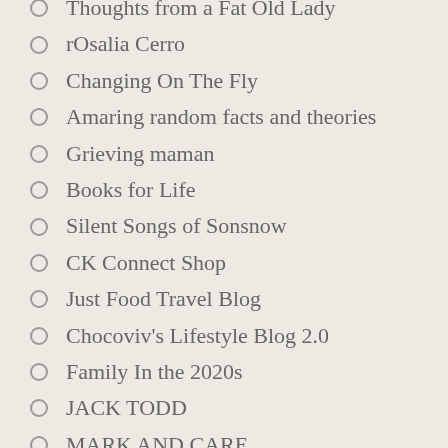Thoughts from a Fat Old Lady
rOsalia Cerro
Changing On The Fly
Amaring random facts and theories
Grieving maman
Books for Life
Silent Songs of Sonsnow
CK Connect Shop
Just Food Travel Blog
Chocoviv's Lifestyle Blog 2.0
Family In the 2020s
JACK TODD
MARK AND CARE
A Book Wanderer